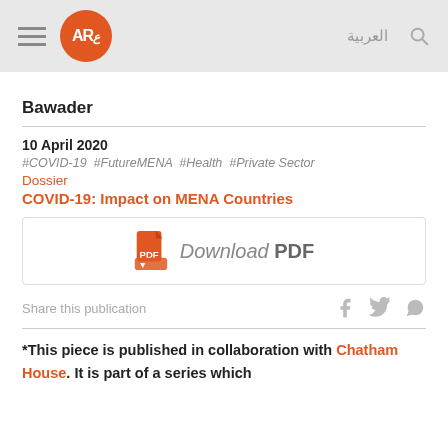AR [logo] العربية [search]
Bawader
10 April 2020
#COVID-19 #FutureMENA #Health #Private Sector
Dossier
COVID-19: Impact on MENA Countries
[Figure (other): Download PDF button with PDF icon]
Share this publication
*This piece is published in collaboration with Chatham House. It is part of a series which